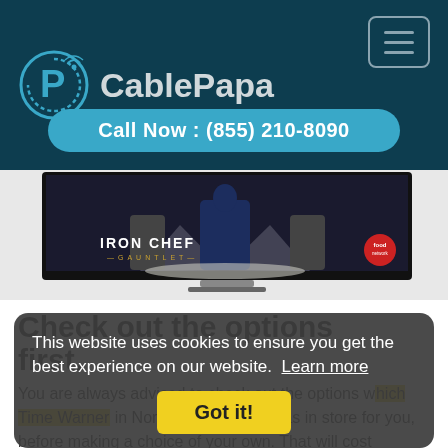[Figure (logo): CablePapa logo with circular P icon in blue/teal and text 'CablePapa' in light grey on dark teal background. Hamburger menu button top right.]
Call Now : (855) 210-8090
[Figure (photo): TV screen showing Iron Chef Gauntlet on Food Network. Dark dramatic image of chefs in a kitchen arena.]
Check out the options first.
You are always advised to check out the options which Time Warner in North clarendon VT has in store for you, before making a choice of your own. That will cost
This website uses cookies to ensure you get the best experience on our website.  Learn more
Got it!